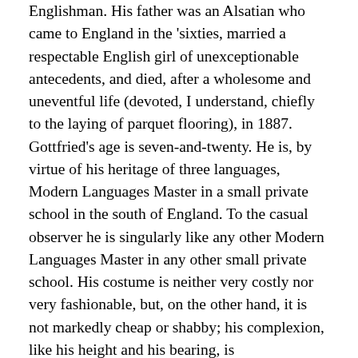Englishman. His father was an Alsatian who came to England in the 'sixties, married a respectable English girl of unexceptionable antecedents, and died, after a wholesome and uneventful life (devoted, I understand, chiefly to the laying of parquet flooring), in 1887. Gottfried's age is seven-and-twenty. He is, by virtue of his heritage of three languages, Modern Languages Master in a small private school in the south of England. To the casual observer he is singularly like any other Modern Languages Master in any other small private school. His costume is neither very costly nor very fashionable, but, on the other hand, it is not markedly cheap or shabby; his complexion, like his height and his bearing, is inconspicuous. You would notice, perhaps, that, like the majority of people, his face was not absolutely symmetrical, his right eye a little larger than the left, and his jaw a trifle heavier on the right side. If you, as an ordinary careless person, were to bare his chest and feel